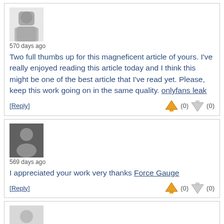570 days ago
Two full thumbs up for this magneficent article of yours. I've really enjoyed reading this article today and I think this might be one of the best article that I've read yet. Please, keep this work going on in the same quality. onlyfans leak
[Reply] (0) (0)
569 days ago
I appreciated your work very thanks Force Gauge
[Reply] (0) (0)
Mowais1 568 days ago
Hey what a brilliant post I have come across and believe me I have been searching out for this similar